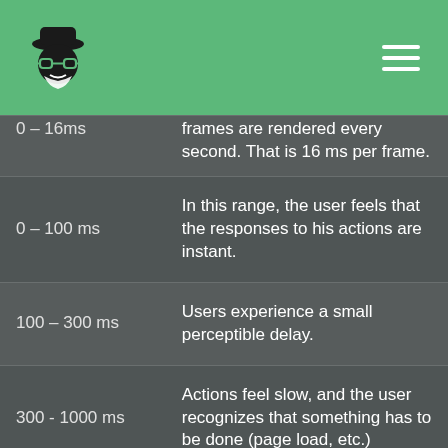Logo and hamburger menu navigation header
| Time Range | Description |
| --- | --- |
| 0 – 16ms | frames are rendered every second. That is 16 ms per frame. |
| 0 – 100 ms | In this range, the user feels that the responses to his actions are instant. |
| 100 – 300 ms | Users experience a small perceptible delay. |
| 300 - 1000 ms | Actions feel slow, and the user recognizes that something has to be done (page load, etc.) |
| 1000 ms - + | Users will likely have a mental context switch. |
| 10... | Users will li... |